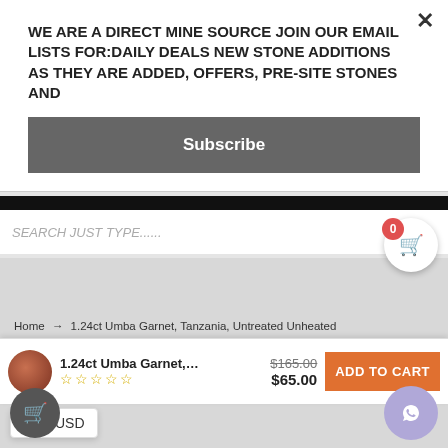WE ARE A DIRECT MINE SOURCE JOIN OUR EMAIL LISTS FOR:DAILY DEALS NEW STONE ADDITIONS AS THEY ARE ADDED, OFFERS, PRE-SITE STONES AND
Subscribe
[Figure (screenshot): Search bar with placeholder text SEARCH JUST TYPE......]
Home → 1.24ct Umba Garnet, Tanzania, Untreated Unheated
1.24ct Umba Garnet, T...  $165.00  $65.00  ADD TO CART
USD